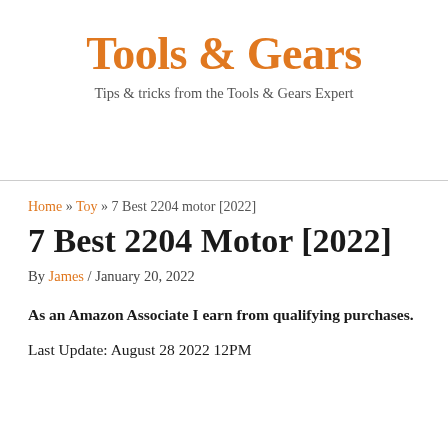Tools & Gears
Tips & tricks from the Tools & Gears Expert
Home » Toy » 7 Best 2204 motor [2022]
7 Best 2204 Motor [2022]
By James / January 20, 2022
As an Amazon Associate I earn from qualifying purchases.
Last Update: August 28 2022 12PM